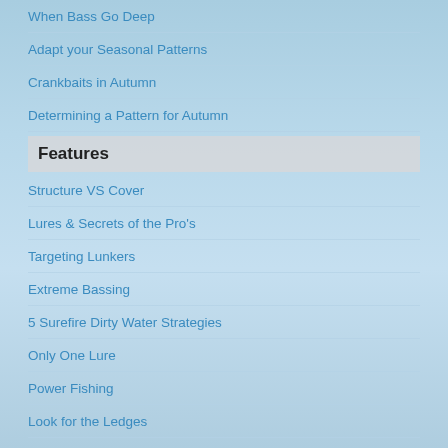When Bass Go Deep
Adapt your Seasonal Patterns
Crankbaits in Autumn
Determining a Pattern for Autumn
Features
Structure VS Cover
Lures & Secrets of the Pro's
Targeting Lunkers
Extreme Bassing
5 Surefire Dirty Water Strategies
Only One Lure
Power Fishing
Look for the Ledges
What is a Bass Migration Route?
Get a Pushpole
Cranked Up for smallmouths
12 Tips for Better Tackle Care
The 80 Degrees Farenheit Factor Pt2